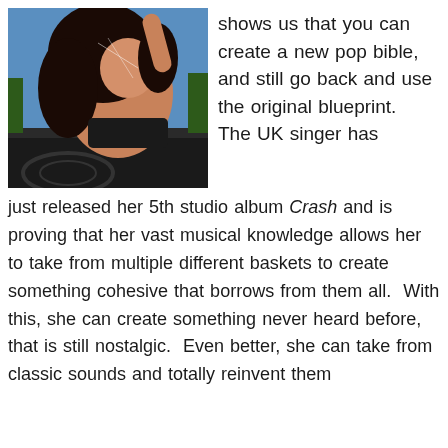[Figure (photo): A young woman with long dark hair in a black bikini top posing on the hood of a car, photographed from above with a blue sky background.]
shows us that you can create a new pop bible, and still go back and use the original blueprint.  The UK singer has just released her 5th studio album Crash and is proving that her vast musical knowledge allows her to take from multiple different baskets to create something cohesive that borrows from them all.  With this, she can create something never heard before, that is still nostalgic.  Even better, she can take from classic sounds and totally reinvent them